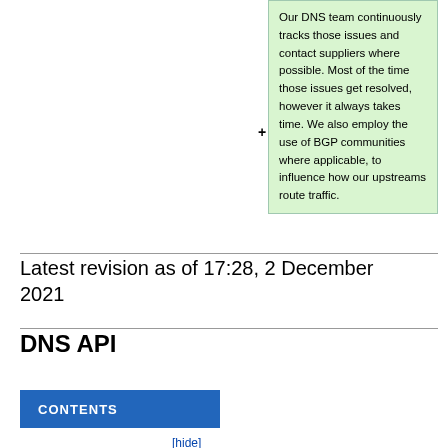Our DNS team continuously tracks those issues and contact suppliers where possible. Most of the time those issues get resolved, however it always takes time. We also employ the use of BGP communities where applicable, to influence how our upstreams route traffic.
Latest revision as of 17:28, 2 December 2021
DNS API
CONTENTS
[hide]